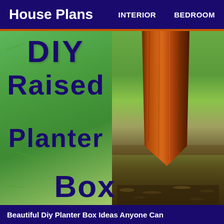House Plans   INTERIOR   BEDROOM
[Figure (photo): Split image: left half shows green grass lawn with bold dark blue text 'DIY Raised Planter Box' overlaid; right half shows a close-up photo of a cedar/redwood wooden stake or post planted in the ground with mulch and grass around it.]
Beautiful Diy Planter Box Ideas Anyone Can